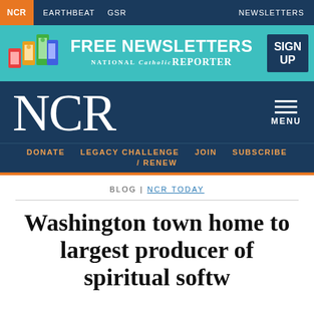NCR  EARTHBEAT  GSR  NEWSLETTERS
[Figure (infographic): NCR Free Newsletters promotional banner with colorful phone icons, teal background, and SIGN UP button]
NCR  MENU
DONATE  LEGACY CHALLENGE  JOIN  SUBSCRIBE / RENEW
BLOG | NCR TODAY
Washington town home to largest producer of spiritual software